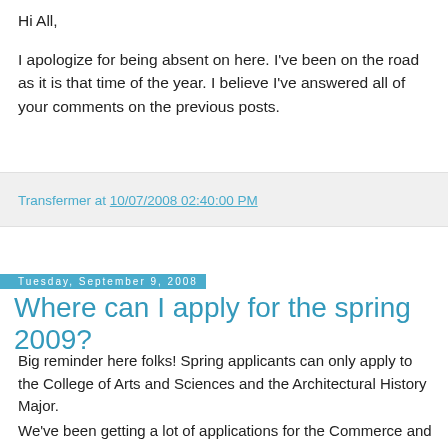Hi All,
I apologize for being absent on here. I've been on the road as it is that time of the year. I believe I've answered all of your comments on the previous posts.
Transfermer at 10/07/2008 02:40:00 PM
Tuesday, September 9, 2008
Where can I apply for the spring 2009?
Big reminder here folks! Spring applicants can only apply to the College of Arts and Sciences and the Architectural History Major.
We've been getting a lot of applications for the Commerce and Engineering schools, etc. This is not possible. They are not open at this time and will be available for Fall 2009.